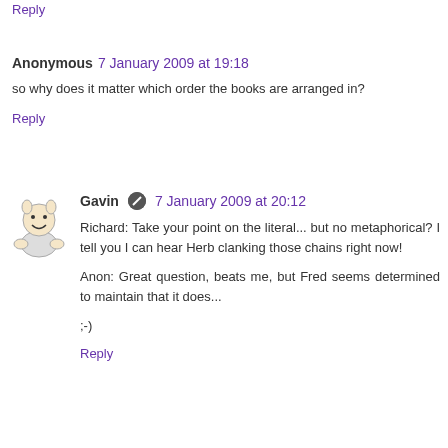Reply
Anonymous 7 January 2009 at 19:18
so why does it matter which order the books are arranged in?
Reply
[Figure (illustration): Small cartoon avatar of a character]
Gavin 7 January 2009 at 20:12
Richard: Take your point on the literal... but no metaphorical? I tell you I can hear Herb clanking those chains right now!
Anon: Great question, beats me, but Fred seems determined to maintain that it does...
;-)
Reply